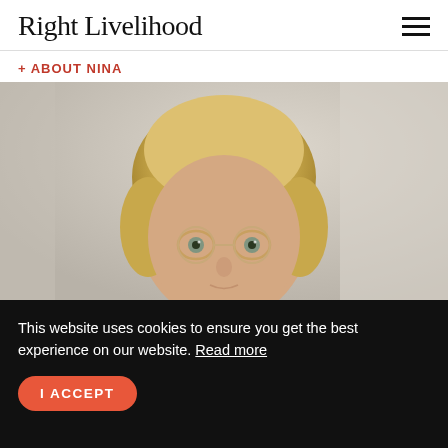Right Livelihood
+ ABOUT NINA
[Figure (photo): Portrait photo of a young blonde woman with round glasses, cropped at chin level, light background]
This website uses cookies to ensure you get the best experience on our website. Read more
I ACCEPT